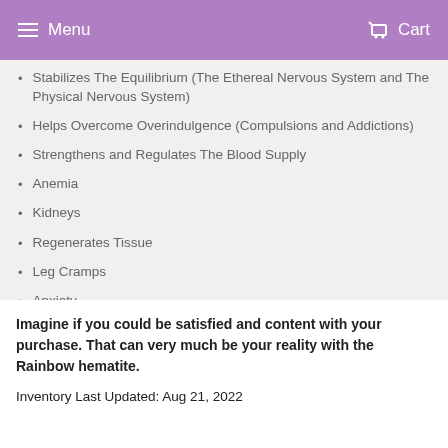Menu   Cart
Stabilizes The Equilibrium (The Ethereal Nervous System and The Physical Nervous System)
Helps Overcome Overindulgence (Compulsions and Addictions)
Strengthens and Regulates The Blood Supply
Anemia
Kidneys
Regenerates Tissue
Leg Cramps
Anxiety
Insomnia
Aids Spinal Alignment and Fractures
Imagine if you could be satisfied and content with your purchase. That can very much be your reality with the Rainbow hematite.

Inventory Last Updated: Aug 21, 2022